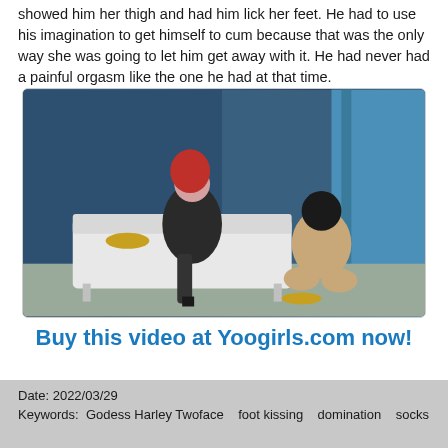showed him her thigh and had him lick her feet. He had to use his imagination to get himself to cum because that was the only way she was going to let him get away with it. He had never had a painful orgasm like the one he had at that time.
[Figure (photo): A woman with red hair wearing a black jacket and fishnet stockings sits on a white couch. A masked man kneels on the floor before her. Gold shoes are visible on the couch and floor. Blue walls and curtains in background.]
Buy this video at Yoogirls.com now!
Date: 2022/03/29
Keywords: Godess Harley Twoface   foot kissing   domination   socks